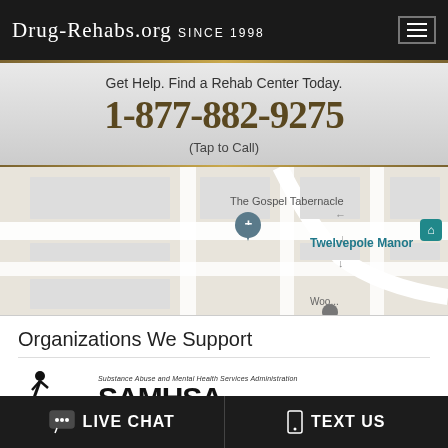Drug-Rehabs.org Since 1998
Get Help. Find a Rehab Center Today.
1-877-882-9275
(Tap to Call)
[Figure (map): Google Maps screenshot showing The Gospel Tabernacle and Twelvepole Manor area with street map view]
Organizations We Support
[Figure (logo): SAMHSA - Substance Abuse and Mental Health Services Administration logo]
LIVE CHAT   TEXT US